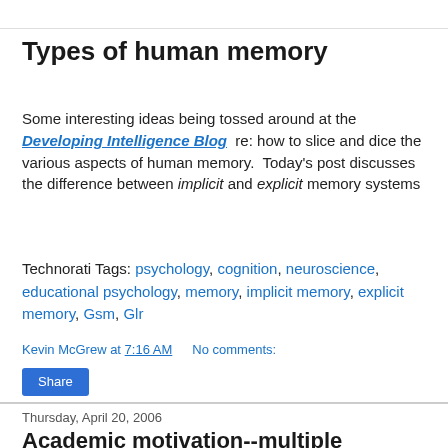Types of human memory
Some interesting ideas being tossed around at the Developing Intelligence Blog  re: how to slice and dice the various aspects of human memory.  Today's post discusses the difference between implicit and explicit memory systems
Technorati Tags: psychology, cognition, neuroscience, educational psychology, memory, implicit memory, explicit memory, Gsm, Glr
Kevin McGrew at 7:16 AM   No comments:
Share
Thursday, April 20, 2006
Academic motivation--multiple variables (Guest post by John Garruto)